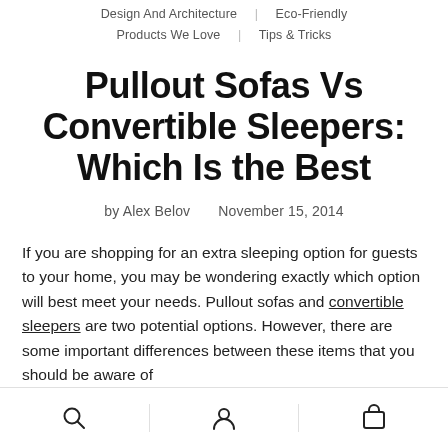Design And Architecture   Eco-Friendly   Products We Love   Tips & Tricks
Pullout Sofas Vs Convertible Sleepers: Which Is the Best
by Alex Belov   November 15, 2014
If you are shopping for an extra sleeping option for guests to your home, you may be wondering exactly which option will best meet your needs. Pullout sofas and convertible sleepers are two potential options. However, there are some important differences between these items that you should be aware of